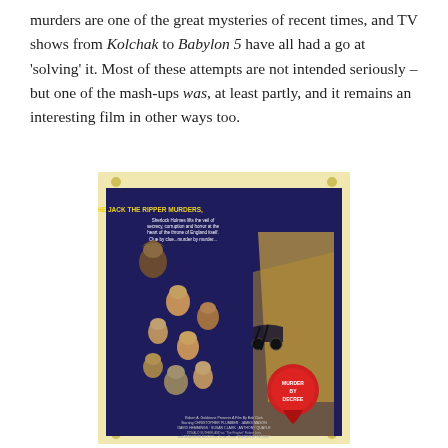murders are one of the great mysteries of recent times, and TV shows from Kolchak to Babylon 5 have all had a go at 'solving' it. Most of these attempts are not intended seriously – but one of the mash-ups was, at least partly, and it remains an interesting film in other ways too.
[Figure (photo): Movie poster for 'Murder by Decree' featuring illustrated portraits of characters in Victorian dress, set against a dark blue background. Yellow text at top reads 'THE JACK THE RIPPER MURDERS, Sherlock Holmes lifts the veil of secrecy, corruption and horror at the heart of the throne of England itself. Clue by clue...murder by murder...' A red wax seal in the bottom right reads 'MURDER BY DECREE'. Cast and crew credits appear at the bottom.]